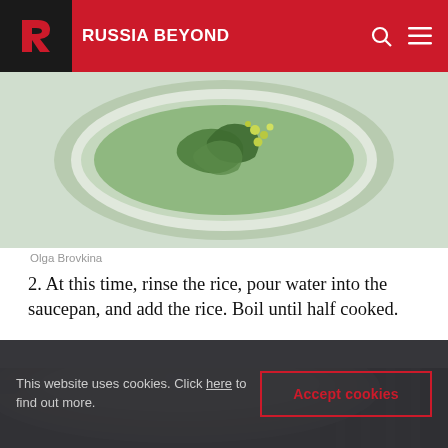RUSSIA BEYOND
[Figure (photo): Overhead view of a bowl containing leafy greens and small yellow-green peas or capers in liquid]
Olga Brovkina
2. At this time, rinse the rice, pour water into the saucepan, and add the rice. Boil until half cooked.
[Figure (photo): Close-up photo of a metal saucepan with boiling water on a stovetop grill]
This website uses cookies. Click here to find out more.